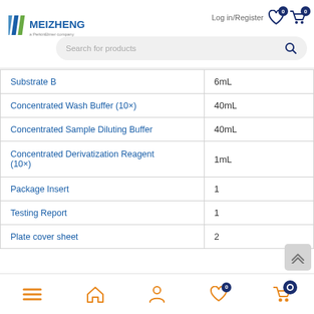Log in/Register | Search for products — Meizheng a PerkinElmer company
| Component | Quantity |
| --- | --- |
| Substrate B | 6mL |
| Concentrated Wash Buffer (10×) | 40mL |
| Concentrated Sample Diluting Buffer | 40mL |
| Concentrated Derivatization Reagent (10×) | 1mL |
| Package Insert | 1 |
| Testing Report | 1 |
| Plate cover sheet | 2 |
Bottom navigation bar with menu, home, profile, wishlist, cart icons